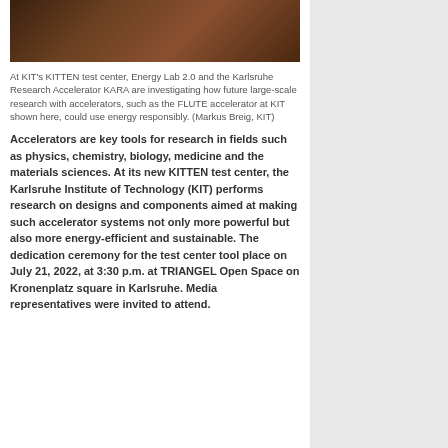[Figure (photo): Photo of FLUTE accelerator equipment at KIT's KITTEN test center, showing laboratory hardware with cables and electronics]
At KIT's KITTEN test center, Energy Lab 2.0 and the Karlsruhe Research Accelerator KARA are investigating how future large-scale research with accelerators, such as the FLUTE accelerator at KIT shown here, could use energy responsibly. (Markus Breig, KIT)
Accelerators are key tools for research in fields such as physics, chemistry, biology, medicine and the materials sciences. At its new KITTEN test center, the Karlsruhe Institute of Technology (KIT) performs research on designs and components aimed at making such accelerator systems not only more powerful but also more energy-efficient and sustainable. The dedication ceremony for the test center tool place on July 21, 2022, at 3:30 p.m. at TRIANGEL Open Space on Kronenplatz square in Karlsruhe. Media representatives were invited to attend.